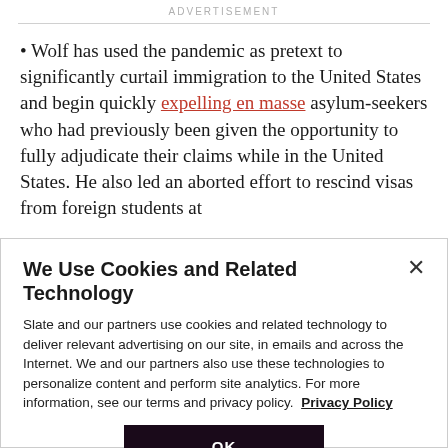ADVERTISEMENT
• Wolf has used the pandemic as pretext to significantly curtail immigration to the United States and begin quickly expelling en masse asylum-seekers who had previously been given the opportunity to fully adjudicate their claims while in the United States. He also led an aborted effort to rescind visas from foreign students at
We Use Cookies and Related Technology
Slate and our partners use cookies and related technology to deliver relevant advertising on our site, in emails and across the Internet. We and our partners also use these technologies to personalize content and perform site analytics. For more information, see our terms and privacy policy. Privacy Policy
OK